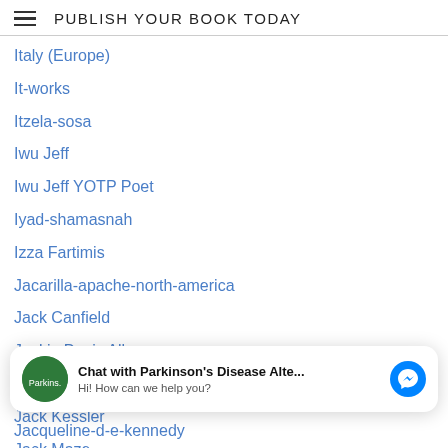PUBLISH YOUR BOOK TODAY
Italy (Europe)
It-works
Itzela-sosa
Iwu Jeff
Iwu Jeff YOTP Poet
Iyad-shamasnah
Izza Fartimis
Jacarilla-apache-north-america
Jack Canfield
Jackie Davis Allen
Jackie Mead (UK)
Jack Kessler
Jack Maze
[Figure (screenshot): Chat widget overlay: avatar with green circle and text, Chat with Parkinson's Disease Alte... Hi! How can we help you?, with blue Messenger icon]
Jacqueline-d-e-kennedy